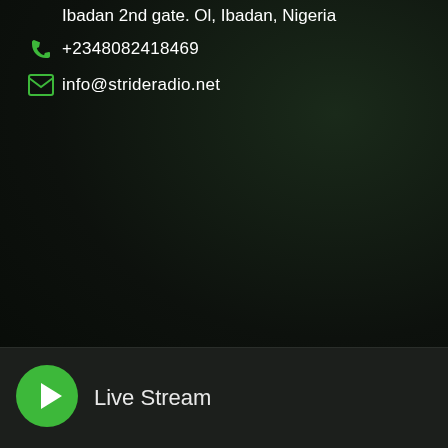Ibadan 2nd gate. Ol, Ibadan, Nigeria
+2348082418469
info@strideradio.net
Live Stream